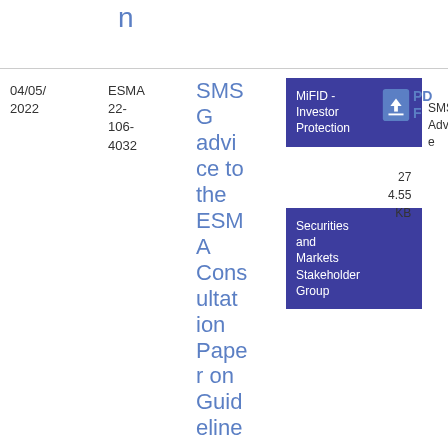n
04/05/2022
ESMA 22-106-4032
SMSG advice to the ESMA Consultation Paper on Guidelines on certain aspects of
MiFID - Investor Protection
Securities and Markets Stakeholder Group
SMSG Advice
PDF
27 4.55 KB